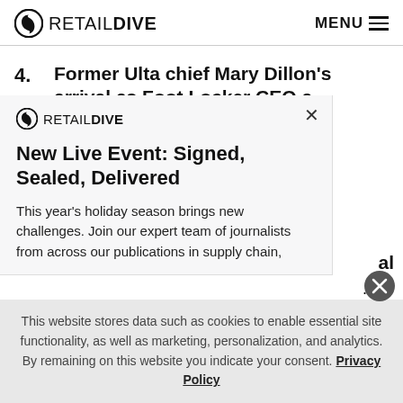RETAIL DIVE  MENU
4. Former Ulta chief Mary Dillon's arrival as Foot Locker CEO a 'narrative
[Figure (screenshot): Modal popup with Retail Dive logo showing 'New Live Event: Signed, Sealed, Delivered' newsletter signup with description text]
This year's holiday season brings new challenges. Join our expert team of journalists from across our publications in supply chain,
This website stores data such as cookies to enable essential site functionality, as well as marketing, personalization, and analytics. By remaining on this website you indicate your consent. Privacy Policy